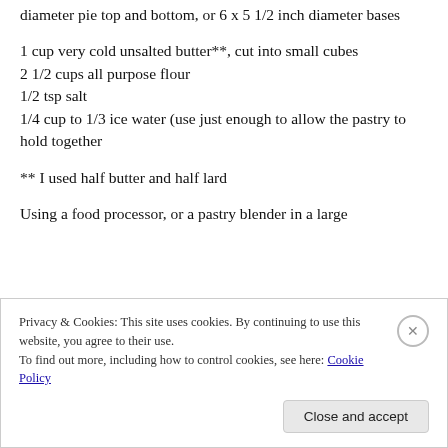diameter pie top and bottom, or 6 x 5 1/2 inch diameter bases
1 cup very cold unsalted butter**, cut into small cubes
2 1/2 cups all purpose flour
1/2 tsp salt
1/4 cup to 1/3 ice water (use just enough to allow the pastry to hold together
** I used half butter and half lard
Using a food processor, or a pastry blender in a large
Privacy & Cookies: This site uses cookies. By continuing to use this website, you agree to their use. To find out more, including how to control cookies, see here: Cookie Policy